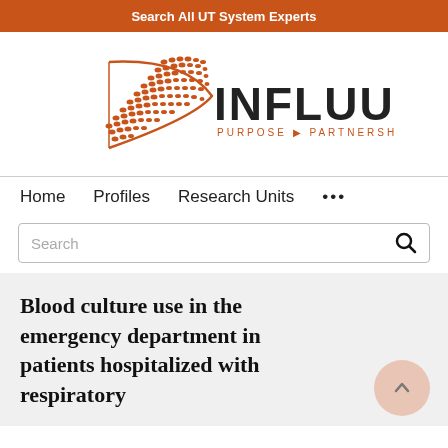Search All UT System Experts
[Figure (logo): Influuent logo with orange geometric shape and text 'INFLUUENT PURPOSE ► PARTNERSHIP ► PROGRESS']
Home   Profiles   Research Units   ...
Search
Blood culture use in the emergency department in patients hospitalized with respiratory